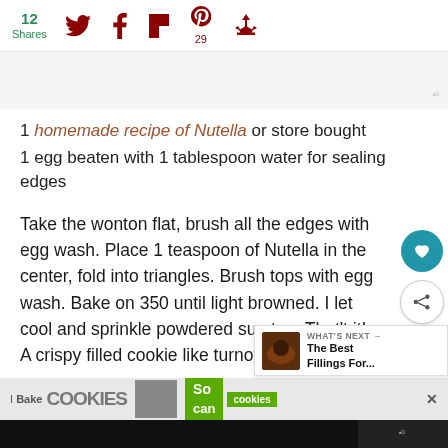12 Shares [social share icons: Twitter, Facebook, Flipboard, Pinterest 29, Recycle]
[Figure (screenshot): Gray advertisement block with Wunderground logo in bottom right]
1 homemade recipe of Nutella or store bought
1 egg beaten with 1 tablespoon water for sealing edges
Take the wonton flat, brush all the edges with egg wash. Place 1 teaspoon of Nutella in the center, fold into triangles. Brush tops with egg wash. Bake on 350 until light browned. I let cool and sprinkle powdered sug top. That't it!
A crispy filled cookie like turnover!
[Figure (screenshot): What's Next promotional widget showing 'The Best Fillings For...' with a food image]
[Figure (screenshot): I Bake COOKIES advertisement banner with woman photo and So can cookies logo]